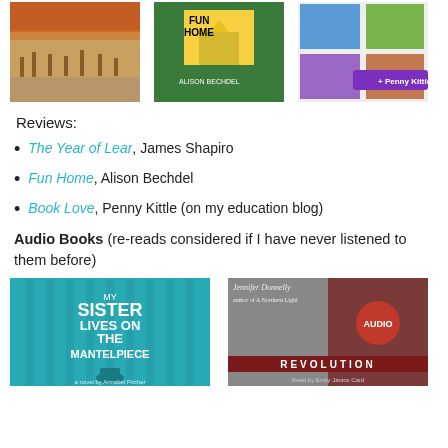[Figure (photo): Three book cover images: an illustrated war scene, Fun Home by Alison Bechdel (green cover), and a Penny Kittle education book cover]
Reviews:
The Year of Lear, James Shapiro
Fun Home, Alison Bechdel
Book Love, Penny Kittle (on my education blog)
Audio Books (re-reads considered if I have never listened to them before)
[Figure (photo): Two audiobook covers: 'My Sister Lives on the Mantelpiece' (teal cover) and 'Revolution' by Jennifer Donnelly (audio edition)]